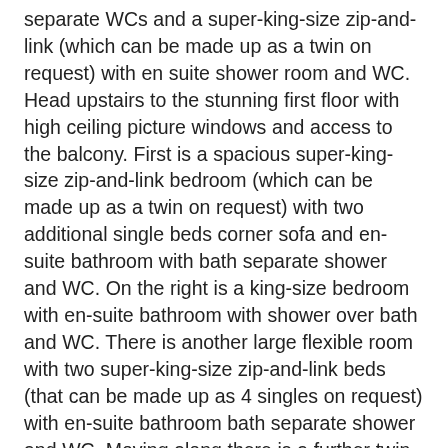separate WCs and a super-king-size zip-and-link (which can be made up as a twin on request) with en suite shower room and WC. Head upstairs to the stunning first floor with high ceiling picture windows and access to the balcony. First is a spacious super-king-size zip-and-link bedroom (which can be made up as a twin on request) with two additional single beds corner sofa and en-suite bathroom with bath separate shower and WC. On the right is a king-size bedroom with en-suite bathroom with shower over bath and WC. There is another large flexible room with two super-king-size zip-and-link beds (that can be made up as 4 singles on request) with en-suite bathroom bath separate shower and WC. Moving along there is a further twin zip-and-link (which can also be made up as a super-king-size on request) with en-suite bathroom with shower over bath and WC. The master bedroom has an exquisite super-king size bed seating area TV dressing area and stunning en-suite bathroom with freestanding bath separate shower two sinks and WC. There is also a private balcony accessed from the